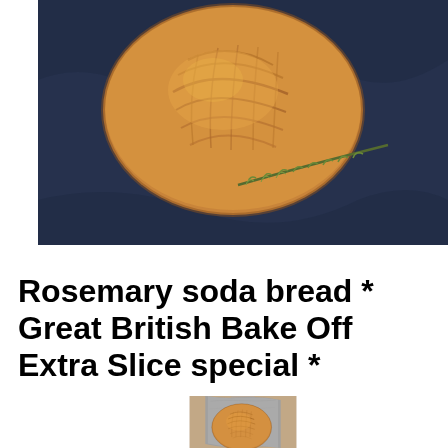[Figure (photo): Top-down view of a rustic rosemary soda bread loaf on a dark blue cloth background, with a sprig of fresh rosemary beside it]
Rosemary soda bread * Great British Bake Off Extra Slice special *
[Figure (photo): A round rustic soda bread loaf held in hands wrapped in a grey linen cloth, close-up view]